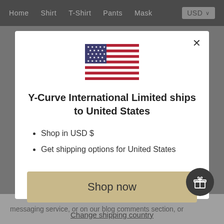Home  Shirt  T-Shirt  Pants  Mask  USD
[Figure (illustration): US flag icon centered in modal]
Y-Curve International Limited ships to United States
Shop in USD $
Get shipping options for United States
Shop now
Change shipping country
messaging service, or on our blog comments section, or